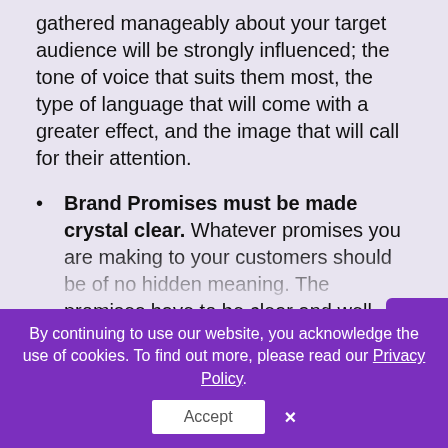gathered manageably about your target audience will be strongly influenced; the tone of voice that suits them most, the type of language that will come with a greater effect, and the image that will call for their attention.
Brand Promises must be made crystal clear. Whatever promises you are making to your customers should be of no hidden meaning. The promises have to be clear and well understood. They will want to know what is in for them when they purchase your products or subscribe to your services. They want to know the positive effect your products/services will bring to their life. They will also want to know how your promises will be delivered
By continuing to use our website, you acknowledge the use of cookies. To find out more, please read our Privacy Policy.